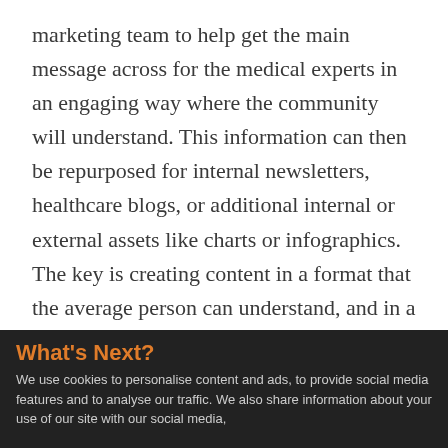marketing team to help get the main message across for the medical experts in an engaging way where the community will understand. This information can then be repurposed for internal newsletters, healthcare blogs, or additional internal or external assets like charts or infographics. The key is creating content in a format that the average person can understand, and in a variety of ways so that you aren't interrupting care.
What's Next?
We use cookies to personalise content and ads, to provide social media features and to analyse our traffic. We also share information about your use of our site with our social media,